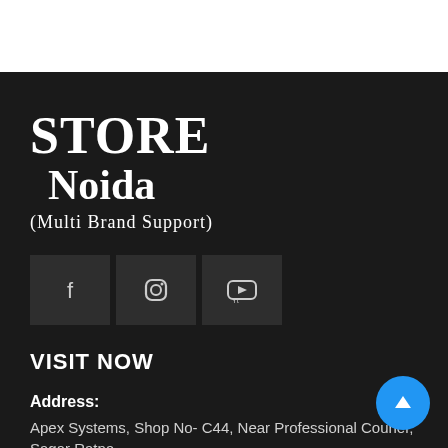STORE Noida (Multi Brand Support)
[Figure (infographic): Three social media icon boxes: Facebook (f), Instagram (camera icon), YouTube (yt icon), displayed in a dark row]
VISIT NOW
Address:
Apex Systems, Shop No- C44, Near Professional Courier, Sagar Ratna